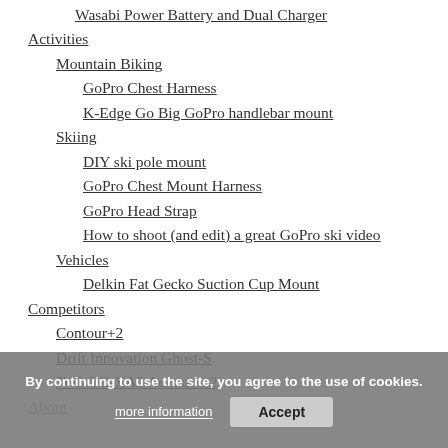Wasabi Power Battery and Dual Charger
Activities
Mountain Biking
GoPro Chest Harness
K-Edge Go Big GoPro handlebar mount
Skiing
DIY ski pole mount
GoPro Chest Mount Harness
GoPro Head Strap
How to shoot (and edit) a great GoPro ski video
Vehicles
Delkin Fat Gecko Suction Cup Mount
Competitors
Contour+2
Drift Innovation Ghost-S
JVC GC-XA2 Adixxion 2
About
By continuing to use the site, you agree to the use of cookies.
more information
Accept